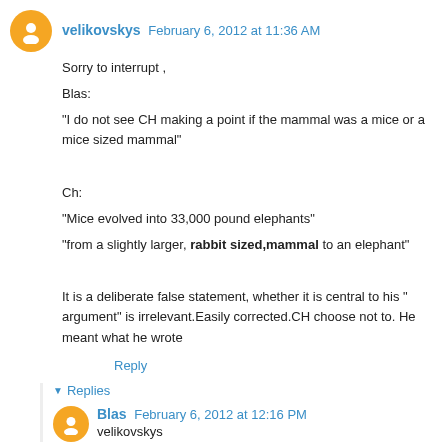velikovskys February 6, 2012 at 11:36 AM
Sorry to interrupt ,
Blas:
"I do not see CH making a point if the mammal was a mice or a mice sized mammal"

Ch:
"Mice evolved into 33,000 pound elephants"
"from a slightly larger, rabbit sized,mammal to an elephant"

It is a deliberate false statement, whether it is central to his " argument" is irrelevant.Easily corrected.CH choose not to. He meant what he wrote
Reply
Replies
Blas February 6, 2012 at 12:16 PM
velikovskys